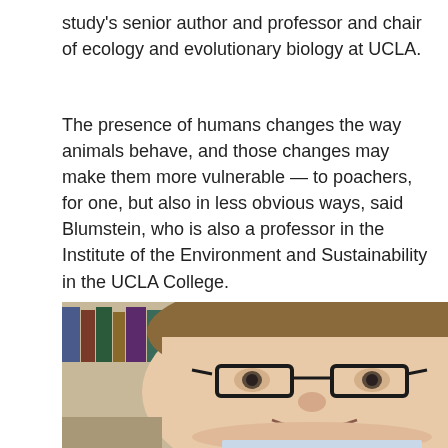study's senior author and professor and chair of ecology and evolutionary biology at UCLA.
The presence of humans changes the way animals behave, and those changes may make them more vulnerable — to poachers, for one, but also in less obvious ways, said Blumstein, who is also a professor in the Institute of the Environment and Sustainability in the UCLA College.
[Figure (photo): Portrait photo of a middle-aged man with short brown hair wearing black-rimmed glasses, smiling, with bookshelves full of books in the background.]